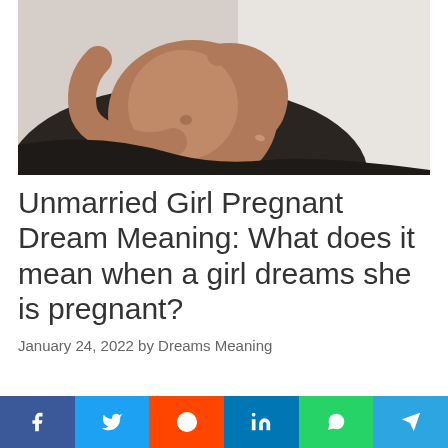[Figure (photo): Close-up photo of a pregnant woman in a black dress cradling her bare baby bump with one hand, against a light background]
Unmarried Girl Pregnant Dream Meaning: What does it mean when a girl dreams she is pregnant?
January 24, 2022 by Dreams Meaning
[Figure (infographic): Social media share buttons bar: Facebook (blue), Twitter (light blue), Reddit (orange), LinkedIn (dark blue), WhatsApp (green), Telegram (light blue)]